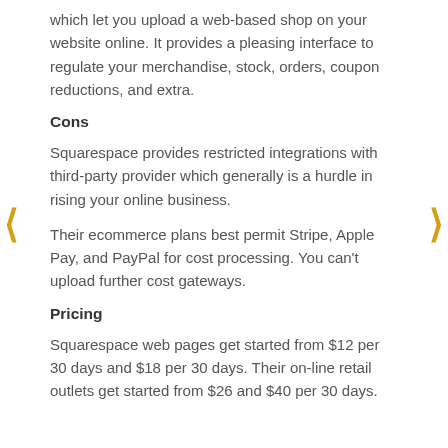which let you upload a web-based shop on your website online. It provides a pleasing interface to regulate your merchandise, stock, orders, coupon reductions, and extra.
Cons
Squarespace provides restricted integrations with third-party provider which generally is a hurdle in rising your online business.
Their ecommerce plans best permit Stripe, Apple Pay, and PayPal for cost processing. You can't upload further cost gateways.
Pricing
Squarespace web pages get started from $12 per 30 days and $18 per 30 days. Their on-line retail outlets get started from $26 and $40 per 30 days.